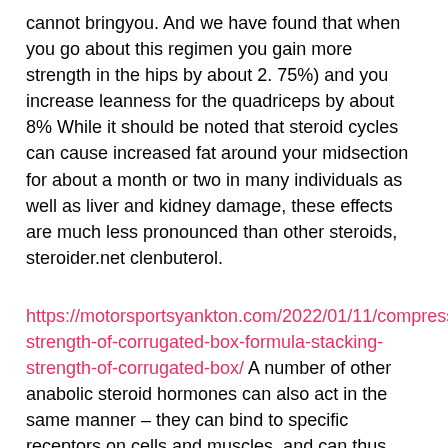cannot bringyou. And we have found that when you go about this regimen you gain more strength in the hips by about 2. 75%) and you increase leanness for the quadriceps by about 8% While it should be noted that steroid cycles can cause increased fat around your midsection for about a month or two in many individuals as well as liver and kidney damage, these effects are much less pronounced than other steroids, steroider.net clenbuterol.
https://motorsportsyankton.com/2022/01/11/compressive-strength-of-corrugated-box-formula-stacking-strength-of-corrugated-box/ A number of other anabolic steroid hormones can also act in the same manner – they can bind to specific receptors on cells and muscles, and can thus stimulate these cells to do certain other things, such as contract or grow, steroider.net clenbuterol.